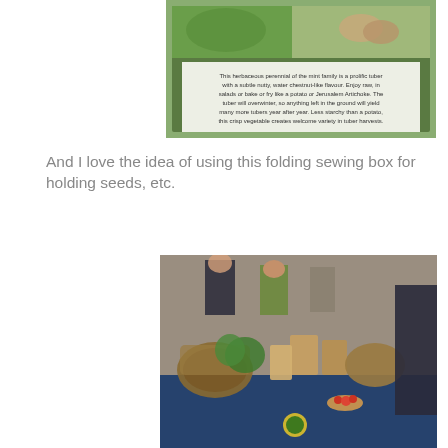[Figure (photo): Close-up photo of a seed packet or label with green border showing text about a herbaceous perennial of the mint family, describing it as a prolific tuber with nutty, water chestnut-like flavour. Can be eaten raw, in salads, baked or fried like a potato or Jerusalem Artichoke. Hands visible at top holding the packet.]
And I love the idea of using this folding sewing box for holding seeds, etc.
[Figure (photo): Photo of a market or fair stall with baskets, seed packets, plants and produce displayed on a blue tablecloth. Several people browsing in the background.]